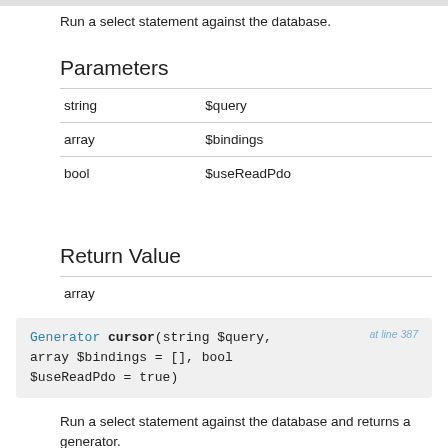Run a select statement against the database.
Parameters
| string | $query |
| array | $bindings |
| bool | $useReadPdo |
Return Value
| array |  |
[Figure (other): Code block showing function signature: Generator cursor(string $query, array $bindings = [], bool $useReadPdo = true) at line 387]
Run a select statement against the database and returns a generator.